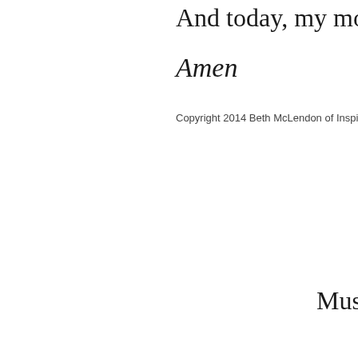And today, my mouth will sing
Amen
Copyright 2014 Beth McLendon of Inspirationa
[Figure (illustration): A yellow notepad with teal horizontal lines and a dark oval graphic element, shown at an angle with a dark spiral binding at the top.]
Music to intro
It is
Psa